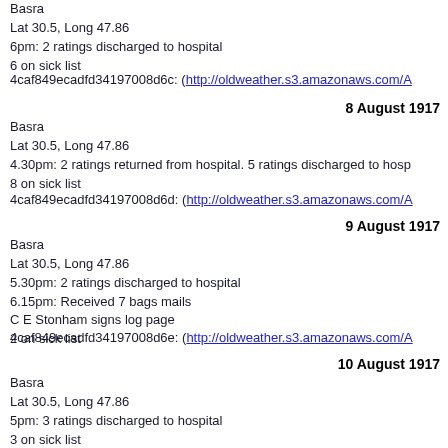Basra
Lat 30.5, Long 47.86
6pm: 2 ratings discharged to hospital
6 on sick list
4caf849ecadfd34197008d6c: (http://oldweather.s3.amazonaws.com/A...
8 August 1917
Basra
Lat 30.5, Long 47.86
4.30pm: 2 ratings returned from hospital. 5 ratings discharged to hosp...
8 on sick list
4caf849ecadfd34197008d6d: (http://oldweather.s3.amazonaws.com/A...
9 August 1917
Basra
Lat 30.5, Long 47.86
5.30pm: 2 ratings discharged to hospital
6.15pm: Received 7 bags mails
C E Stonham signs log page
2 on sick list
4caf849ecadfd34197008d6e: (http://oldweather.s3.amazonaws.com/A...
10 August 1917
Basra
Lat 30.5, Long 47.86
5pm: 3 ratings discharged to hospital
3 on sick list